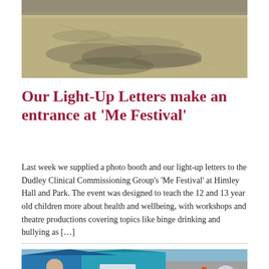[Figure (photo): A photo of a paved or tarmac surface with tire tracks and worn markings visible on it.]
Our Light-Up Letters make an entrance at ‘Me Festival’
Last week we supplied a photo booth and our light-up letters to the Dudley Clinical Commissioning Group’s ‘Me Festival’ at Himley Hall and Park. The event was designed to teach the 12 and 13 year old children more about health and wellbeing, with workshops and theatre productions covering topics like binge drinking and bullying as […]
[Figure (photo): A photo showing blue and teal canopy tents with 'uk' branding visible, at what appears to be an outdoor festival or event.]